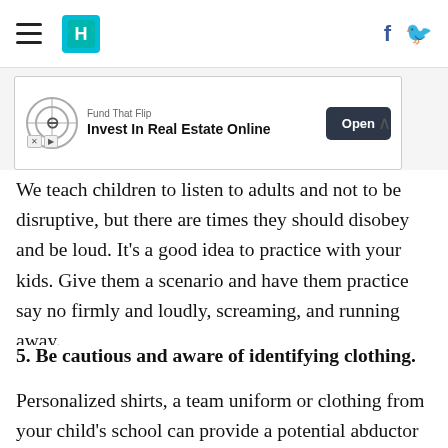HuffPost navigation with hamburger menu, logo, facebook and twitter icons
[Figure (other): Advertisement banner: Fund That Flip – Invest In Real Estate Online, Open button]
We teach children to listen to adults and not to be disruptive, but there are times they should disobey and be loud. It's a good idea to practice with your kids. Give them a scenario and have them practice say no firmly and loudly, screaming, and running away.
5. Be cautious and aware of identifying clothing.
Personalized shirts, a team uniform or clothing from your child's school can provide a potential abductor with valuable information. If they are able to call your child by name or mention their school or team, they may be able to trick your child into believing